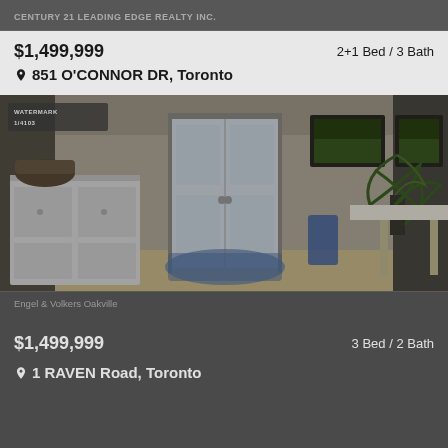CENTURY 21 LEADING EDGE REALTY INC.
$1,499,999  2+1 Bed / 3 Bath
851 O'CONNOR DR, Toronto
[Figure (photo): Interior photo of a home entryway with French doors, white cabinetry on the left, a blue patterned rug, artwork on the walls, and a dining table with chairs on the right.]
Engel & Volkers Oakville
$1,499,999  3 Bed / 2 Bath
1 RAVEN Road, Toronto